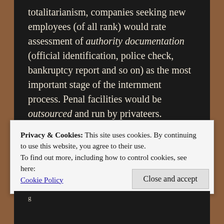totalitarianism, companies seeking new employees (of all rank) would rate assessment of authority documentation (official identification, police check, bankruptcy report and so on) as the most important stage of the internment process. Penal facilities would be outsourced and run by privateers. Marxism, the alternative totalitarian system, is very similar, except the social charter is administered by government and, consequentially, core business might be nationalised to compliment that seamless authority.
Privacy & Cookies: This site uses cookies. By continuing to use this website, you agree to their use.
To find out more, including how to control cookies, see here:
Cookie Policy
Close and accept